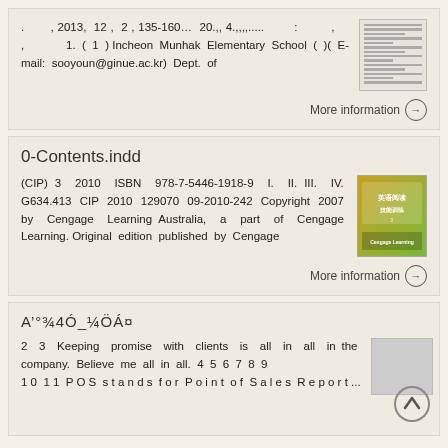. , 2013, 12 , 2 , 135-160... 20.,, 4.,,,,..... : , , 1. ( 1 ) Incheon Munhak Elementary School ( )(, E-mail: sooyoun@ginue.ac.kr) Dept. of
More information →
0-Contents.indd
(CIP) 3 2010 ISBN 978-7-5446-1918-9 I. II. III. IV. G634.413 CIP 2010 129070 09-2010-242 Copyright 2007 by Cengage Learning Australia, a part of Cengage Learning. Original edition published by Cengage
More information →
Å'°³⁄₄Ó_¼ÖÁ¤
2 3 Keeping promise with clients is all in all in the company. Believe me all in all. 4 5 6 7 8 9 10 11 POS stands for Point of Sales Report...